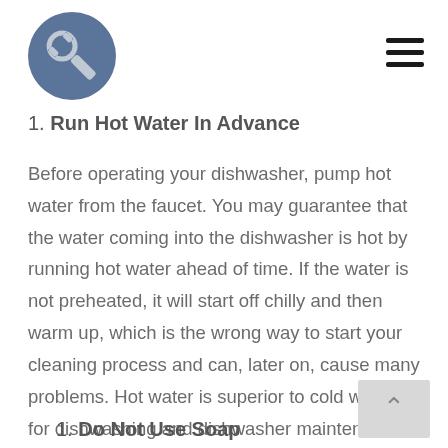[Figure (logo): A wrench icon inside a steel-blue circle, serving as website logo]
1. Run Hot Water In Advance
Before operating your dishwasher, pump hot water from the faucet. You may guarantee that the water coming into the dishwasher is hot by running hot water ahead of time. If the water is not preheated, it will start off chilly and then warm up, which is the wrong way to start your cleaning process and can, later on, cause many problems. Hot water is superior to cold water for dishwashing and dishwasher maintenance.
1. Do Not Use Soap